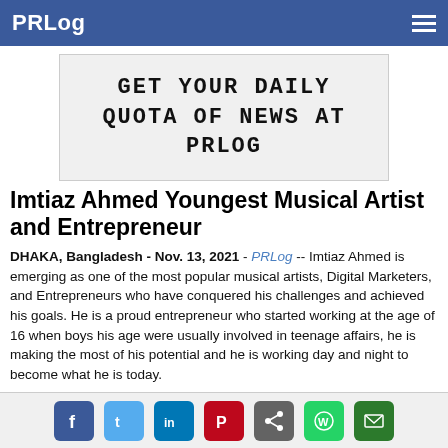PRLog
[Figure (other): Advertisement banner reading GET YOUR DAILY QUOTA OF NEWS AT PRLOG in monospace font]
Imtiaz Ahmed Youngest Musical Artist and Entrepreneur
DHAKA, Bangladesh - Nov. 13, 2021 - PRLog -- Imtiaz Ahmed is emerging as one of the most popular musical artists, Digital Marketers, and Entrepreneurs who have conquered his challenges and achieved his goals. He is a proud entrepreneur who started working at the age of 16 when boys his age were usually involved in teenage affairs, he is making the most of his potential and he is working day and night to become what he is today.
He started his music and digital marketer life in 2021 with the famous audio and digital marketing company "Imtiaz Ahmed" and the first song of "Anything
Spread the Word: [Facebook] [Twitter] [LinkedIn] [Pinterest] [Share] [WhatsApp] [Email]